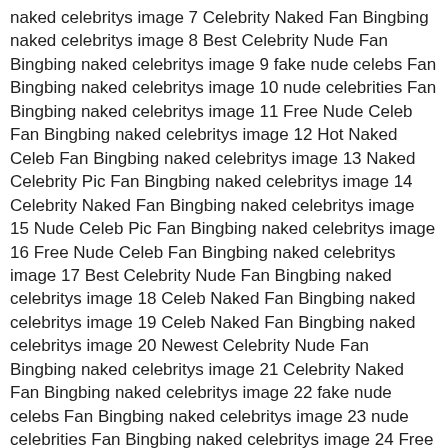naked celebritys image 7 Celebrity Naked Fan Bingbing naked celebritys image 8 Best Celebrity Nude Fan Bingbing naked celebritys image 9 fake nude celebs Fan Bingbing naked celebritys image 10 nude celebrities Fan Bingbing naked celebritys image 11 Free Nude Celeb Fan Bingbing naked celebritys image 12 Hot Naked Celeb Fan Bingbing naked celebritys image 13 Naked Celebrity Pic Fan Bingbing naked celebritys image 14 Celebrity Naked Fan Bingbing naked celebritys image 15 Nude Celeb Pic Fan Bingbing naked celebritys image 16 Free Nude Celeb Fan Bingbing naked celebritys image 17 Best Celebrity Nude Fan Bingbing naked celebritys image 18 Celeb Naked Fan Bingbing naked celebritys image 19 Celeb Naked Fan Bingbing naked celebritys image 20 Newest Celebrity Nude Fan Bingbing naked celebritys image 21 Celebrity Naked Fan Bingbing naked celebritys image 22 fake nude celebs Fan Bingbing naked celebritys image 23 nude celebrities Fan Bingbing naked celebritys image 24 Free Nude Celeb Fan Bingbing naked celebritys image 25 nude celebrities Fan Bingbing naked celebritys image 26 Celebrity Nude Pic Fan Bingbing naked